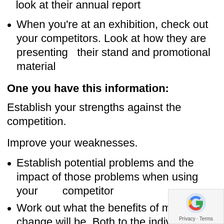When you're at an exhibition, check out your competitors. Look at how they are presenting   their stand and promotional material
One you have this information:
Establish your strengths against the competition.
Improve your weaknesses.
Establish potential problems and the impact of those problems when using your        competitor
Work out what the benefits of making the change will be. Both to the individual you will be selling to and to the businesses